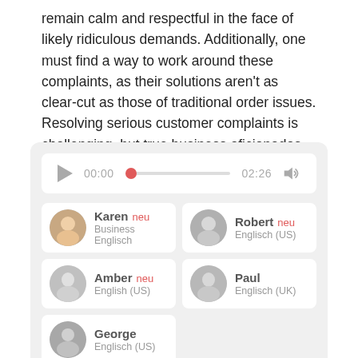remain calm and respectful in the face of likely ridiculous demands. Additionally, one must find a way to work around these complaints, as their solutions aren't as clear-cut as those of traditional order issues. Resolving serious customer complaints is challenging, but true business aficionados can pull it off.
[Figure (screenshot): Audio player UI with play button, progress bar showing 00:00 of 02:26, volume icon, and five voice options: Karen (neu, Business Englisch), Robert (neu, Englisch US), Amber (neu, English US), Paul (Englisch UK), George (Englisch US)]